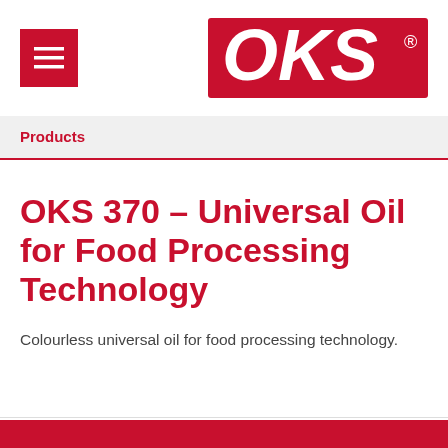[Figure (logo): OKS logo in red with white italic text and registered trademark symbol]
Products
OKS 370 – Universal Oil for Food Processing Technology
Colourless universal oil for food processing technology.